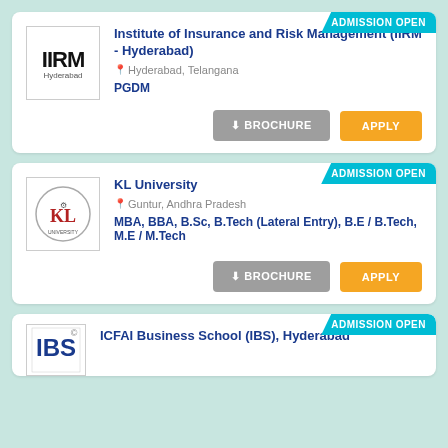[Figure (logo): IIRM Hyderabad logo]
Institute of Insurance and Risk Management (IIRM - Hyderabad)
Hyderabad, Telangana
PGDM
[Figure (logo): KL University logo]
KL University
Guntur, Andhra Pradesh
MBA, BBA, B.Sc, B.Tech (Lateral Entry), B.E / B.Tech, M.E / M.Tech
[Figure (logo): IBS logo]
ICFAI Business School (IBS), Hyderabad